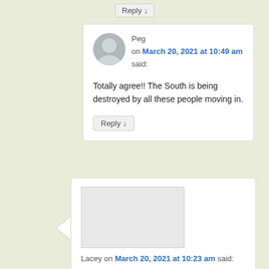Reply ↓
Peg on March 20, 2021 at 10:49 am said:
Totally agree!! The South is being destroyed by all these people moving in.
Reply ↓
Lacey on March 20, 2021 at 10:23 am said:
Ugh. This is unacceptable. We need less government, less seizure, more private property